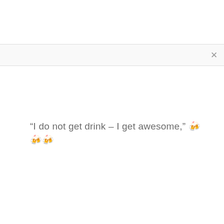[Figure (screenshot): Browser search/dialog bar with a close (X) button on the right side, light gray background with subtle border]
“I do not get drink – I get awesome,” 🍻🍻🍻